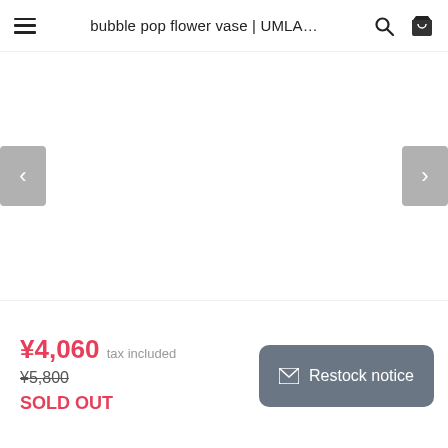bubble pop flower vase | UMLA…
[Figure (photo): Product image area for bubble pop flower vase — white blank area with left and right navigation arrows on sides]
¥4,060 tax included
¥5,800
SOLD OUT
Restock notice